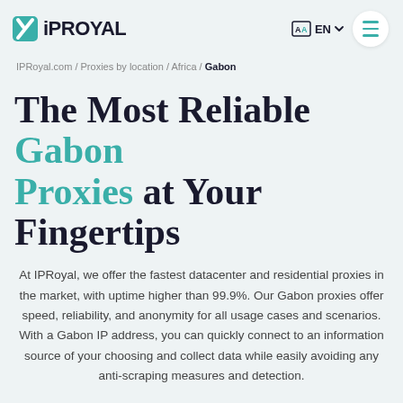IPRoyal EN
IPRoyal.com / Proxies by location / Africa / Gabon
The Most Reliable Gabon Proxies at Your Fingertips
At IPRoyal, we offer the fastest datacenter and residential proxies in the market, with uptime higher than 99.9%. Our Gabon proxies offer speed, reliability, and anonymity for all usage cases and scenarios. With a Gabon IP address, you can quickly connect to an information source of your choosing and collect data while easily avoiding any anti-scraping measures and detection.